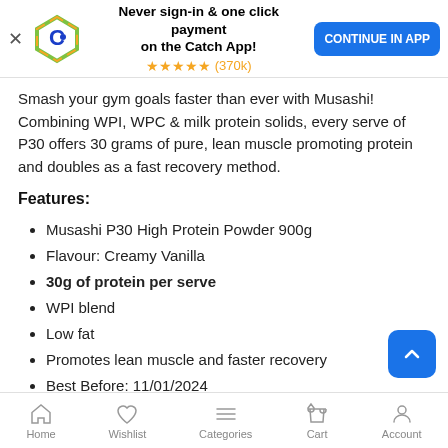[Figure (screenshot): Catch app banner with logo, 'Never sign-in & one click payment on the Catch App!' text, 5-star rating (370k), and Continue in App button]
Smash your gym goals faster than ever with Musashi! Combining WPI, WPC & milk protein solids, every serve of P30 offers 30 grams of pure, lean muscle promoting protein and doubles as a fast recovery method.
Features:
Musashi P30 High Protein Powder 900g
Flavour: Creamy Vanilla
30g of protein per serve
WPI blend
Low fat
Promotes lean muscle and faster recovery
Best Before: 11/01/2024
Country of origin: N/A
Home   Wishlist   Categories   Cart   Account